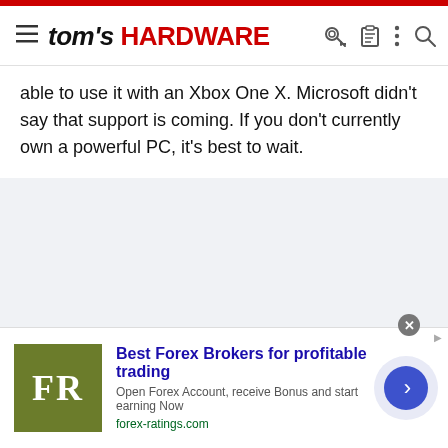tom's HARDWARE
able to use it with an Xbox One X. Microsoft didn't say that support is coming. If you don't currently own a powerful PC, it's best to wait.
[Figure (other): Gray empty content area placeholder]
[Figure (other): Advertisement banner for Best Forex Brokers - FR logo, title: Best Forex Brokers for profitable trading, subtitle: Open Forex Account, receive Bonus and start earning Now, url: forex-ratings.com]